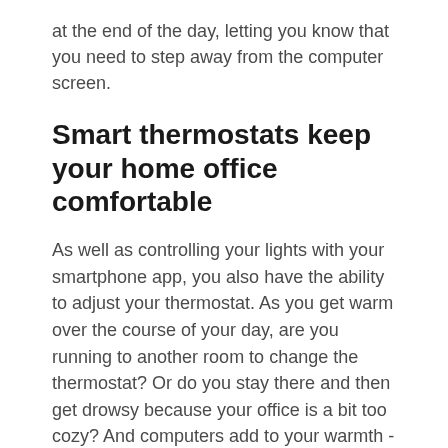at the end of the day, letting you know that you need to step away from the computer screen.
Smart thermostats keep your home office comfortable
As well as controlling your lights with your smartphone app, you also have the ability to adjust your thermostat. As you get warm over the course of your day, are you running to another room to change the thermostat? Or do you stay there and then get drowsy because your office is a bit too cozy? And computers add to your warmth -- especially if you are working with a laptop sitting across your knees.
A smart thermostat allows you to quickly and easily adjust settings so you can find the right temperature. This can be just as particularly helpful as you use...